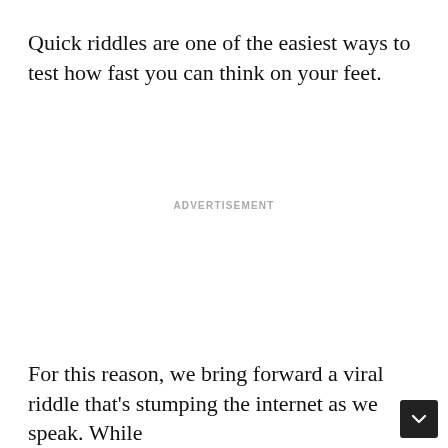Quick riddles are one of the easiest ways to test how fast you can think on your feet.
ADVERTISEMENT
For this reason, we bring forward a viral riddle that's stumping the internet as we speak. While